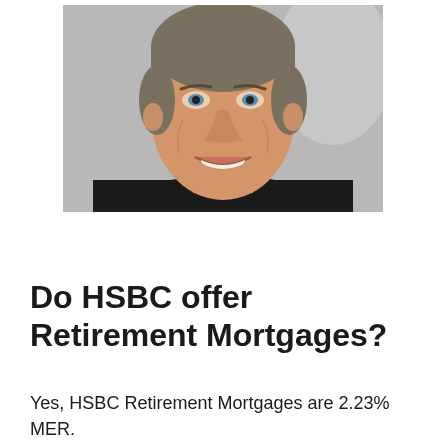[Figure (photo): Close-up photo of a middle-aged man with grey-streaked hair, smiling, wearing a dark jacket, against a blurred grey background.]
Do HSBC offer Retirement Mortgages?
Yes, HSBC Retirement Mortgages are 2.23% MER.